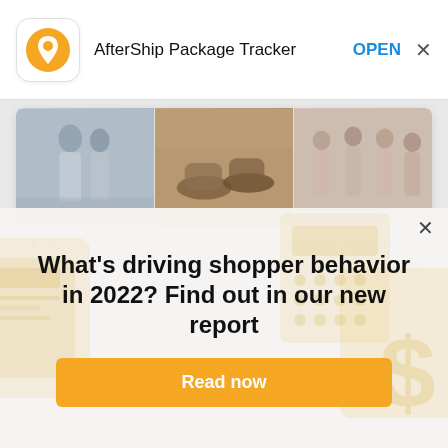AfterShip Package Tracker   OPEN  X
[Figure (screenshot): Website preview card showing three wedding photos (couple holding hands, pair of shoes, bridesmaids group) with social media icons (f, twitter, instagram) and footer links (Contact Us, Terms, Privacy)]
What's driving shopper behavior in 2022? Find out in our new report
Read now